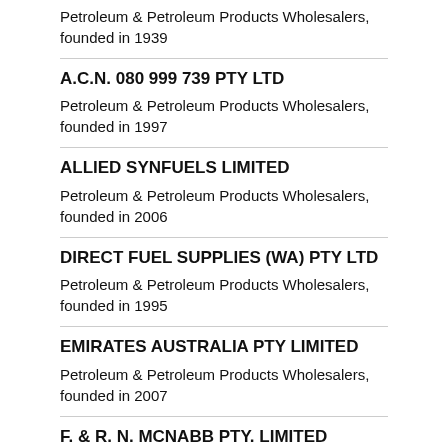Petroleum & Petroleum Products Wholesalers, founded in 1939
A.C.N. 080 999 739 PTY LTD
Petroleum & Petroleum Products Wholesalers, founded in 1997
ALLIED SYNFUELS LIMITED
Petroleum & Petroleum Products Wholesalers, founded in 2006
DIRECT FUEL SUPPLIES (WA) PTY LTD
Petroleum & Petroleum Products Wholesalers, founded in 1995
EMIRATES AUSTRALIA PTY LIMITED
Petroleum & Petroleum Products Wholesalers, founded in 2007
F. & R. N. MCNABB PTY. LIMITED
Petroleum & Petroleum Products Wholesalers, founded in 1991